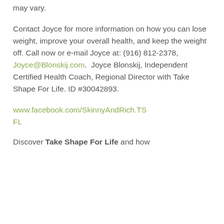1 to 2 lbs weekly thereafter. Results may vary.
Contact Joyce for more information on how you can lose weight, improve your overall health, and keep the weight off. Call now or e-mail Joyce at: (916) 812-2378, Joyce@Blonskij.com.  Joyce Blonskij, Independent Certified Health Coach, Regional Director with Take Shape For Life. ID #30042893.
www.facebook.com/SkinnyAndRich.TSFL
Discover Take Shape For Life and how